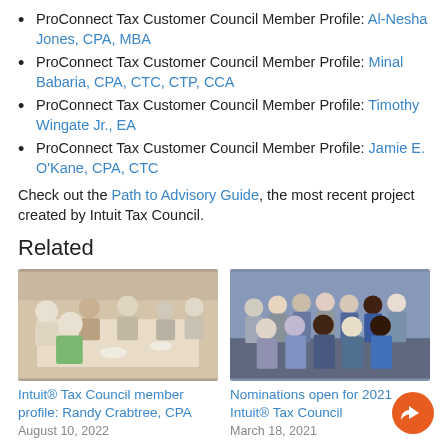ProConnect Tax Customer Council Member Profile: Al-Nesha Jones, CPA, MBA
ProConnect Tax Customer Council Member Profile: Minal Babaria, CPA, CTC, CTP, CCA
ProConnect Tax Customer Council Member Profile: Timothy Wingate Jr., EA
ProConnect Tax Customer Council Member Profile: Jamie E. O'Kane, CPA, CTC
Check out the Path to Advisory Guide, the most recent project created by Intuit Tax Council.
Related
[Figure (photo): Group of people seated around a long dinner table in a restaurant, smiling and socializing.]
Intuit® Tax Council member profile: Randy Crabtree, CPA
August 10, 2022
[Figure (photo): Group of approximately 16 people standing together posing for a photo, some in business casual attire.]
Nominations open for 2021 Intuit® Tax Council
March 18, 2021